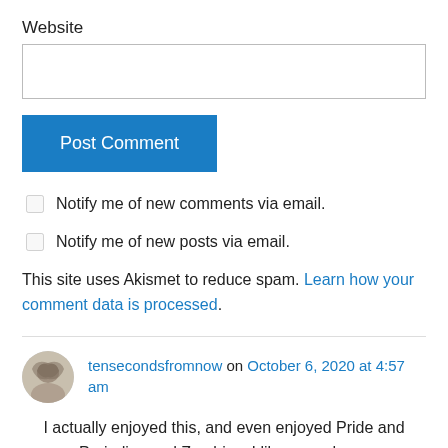Website
[Figure (screenshot): Empty text input box for website field]
[Figure (screenshot): Blue Post Comment button]
Notify me of new comments via email.
Notify me of new posts via email.
This site uses Akismet to reduce spam. Learn how your comment data is processed.
tensecondsfromnow on October 6, 2020 at 4:57 am
I actually enjoyed this, and even enjoyed Pride and Prejudice and Zombies; I like a mash-up,